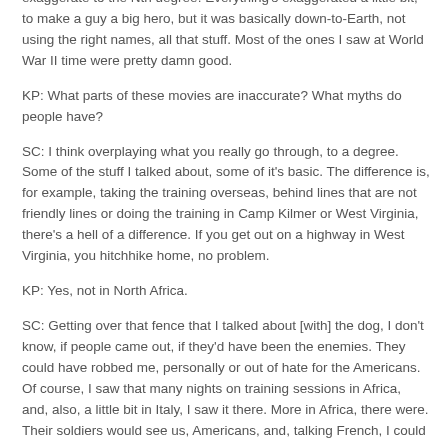exaggerate to the Nth degree.  Everything's exaggerated a little bit, to make a guy a big hero, but it was basically down-to-Earth, not using the right names, all that stuff.  Most of the ones I saw at World War II time were pretty damn good.
KP:  What parts of these movies are inaccurate?  What myths do people have?
SC:  I think overplaying what you really go through, to a degree.  Some of the stuff I talked about, some of it's basic.  The difference is, for example, taking the training overseas, behind lines that are not friendly lines or doing the training in Camp Kilmer or West Virginia, there's a hell of a difference.  If you get out on a highway in West Virginia, you hitchhike home, no problem.
KP:  Yes, not in North Africa.
SC:  Getting over that fence that I talked about [with] the dog, I don't know, if people came out, if they'd have been the enemies.  They could have robbed me, personally or out of hate for the Americans.  Of course, I saw that many nights on training sessions in Africa, and, also, a little bit in Italy, I saw it there.  More in Africa, there were.  Their soldiers would see us, Americans, and, talking French, I could see